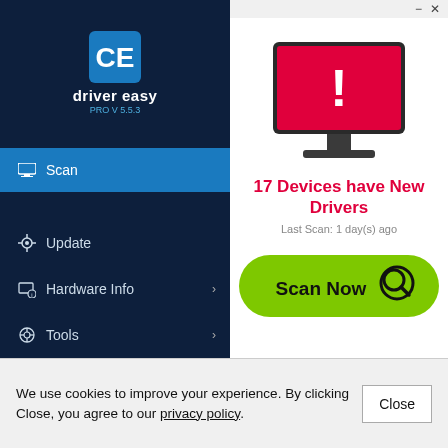[Figure (screenshot): Driver Easy PRO v5.5.3 application window showing sidebar with Scan, Update, Hardware Info, Tools menu items. Main area shows a monitor icon with red error screen and exclamation mark.]
17 Devices have New Drivers
Last Scan: 1 day(s) ago
[Figure (other): Green Scan Now button with magnifying glass icon]
We use cookies to improve your experience. By clicking Close, you agree to our privacy policy.